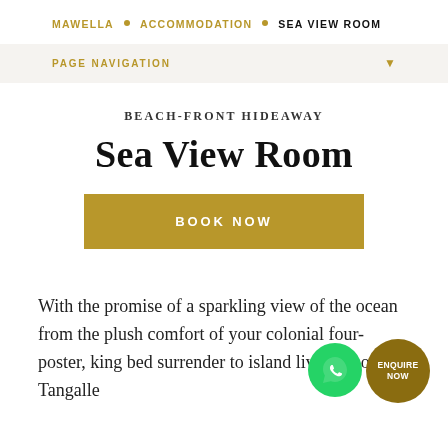MAWELLA • ACCOMMODATION • SEA VIEW ROOM
PAGE NAVIGATION
BEACH-FRONT HIDEAWAY
Sea View Room
BOOK NOW
With the promise of a sparkling view of the ocean from the plush comfort of your colonial four-poster, king bed surrender to island living in our Tangalle